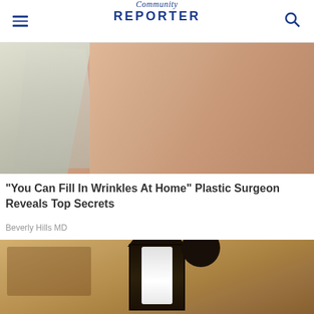Community Reporter
[Figure (photo): Close-up photo of a person in white clothing touching their neck/chin area, showing skin texture detail]
"You Can Fill In Wrinkles At Home" Plastic Surgeon Reveals Top Secrets
Beverly Hills MD
[Figure (photo): Photo of an outdoor wall-mounted lantern light fixture on a textured stone or stucco wall, with a white light bulb visible inside the dark metal frame]